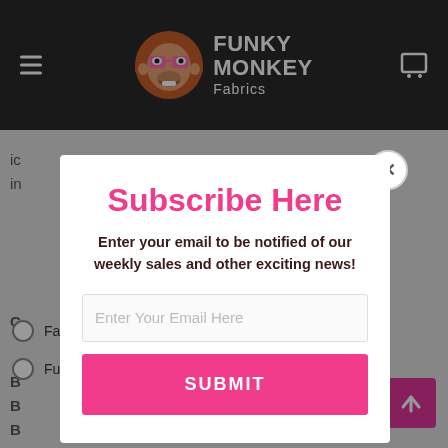[Figure (screenshot): Funky Monkey Fabrics website header with dark background, hamburger menu icon on left, logo in center (monkey mascot with pink sunglasses and FUNKY MONKEY Fabrics text), and shopping cart icon on right.]
ic
in
C
B
B
B
Fa
Fat Man
Full Width
Subscribe Here
Enter your email to be notified of our weekly sales and other exciting news!
Enter Your Email Here
SUBMIT